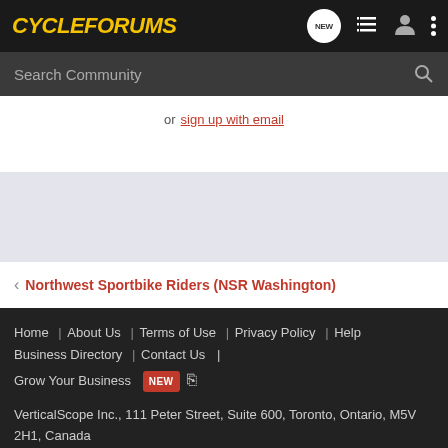CycleForums
Search Community
or sign up with email
< Northwest Sportbike Riders (NSR Washington)
Home  About Us  Terms of Use  Privacy Policy  Help  Business Directory  Contact Us  |  Grow Your Business  NEW  [RSS]
VerticalScope Inc., 111 Peter Street, Suite 600, Toronto, Ontario, M5V 2H1, Canada
The Fora platform includes forum software by XenForo